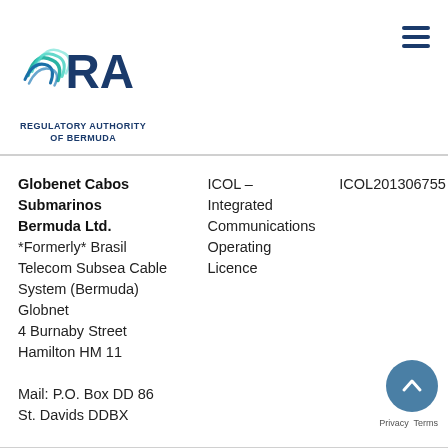[Figure (logo): Regulatory Authority of Bermuda logo with RA letters and wave graphic, plus hamburger menu icon on the right]
| Company | Licence Type | Licence Number |
| --- | --- | --- |
| Globenet Cabos Submarinos Bermuda Ltd.
*Formerly* Brasil Telecom Subsea Cable System (Bermuda) Globnet
4 Burnaby Street
Hamilton HM 11

Mail: P.O. Box DD 86
St. Davids DDBX | ICOL – Integrated Communications Operating Licence | ICOL201306755 |